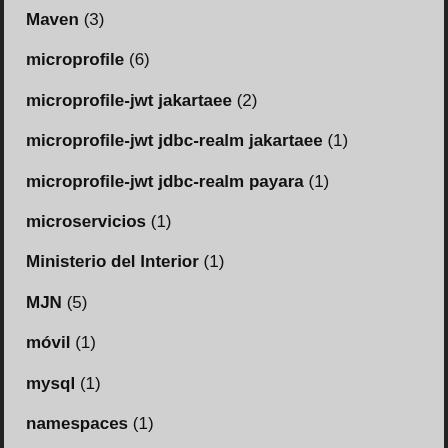Maven (3)
microprofile (6)
microprofile-jwt jakartaee (2)
microprofile-jwt jdbc-realm jakartaee (1)
microprofile-jwt jdbc-realm payara (1)
microservicios (1)
Ministerio del Interior (1)
MJN (5)
móvil (1)
mysql (1)
namespaces (1)
navidad (1)